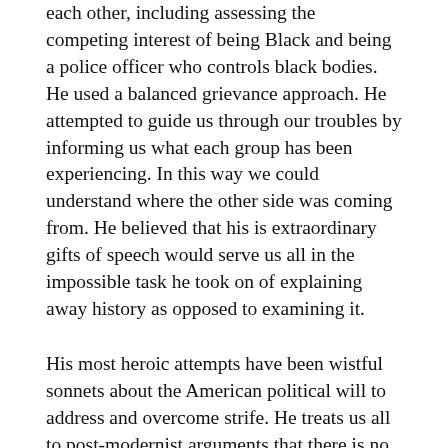each other, including assessing the competing interest of being Black and being a police officer who controls black bodies. He used a balanced grievance approach. He attempted to guide us through our troubles by informing us what each group has been experiencing. In this way we could understand where the other side was coming from. He believed that his is extraordinary gifts of speech would serve us all in the impossible task he took on of explaining away history as opposed to examining it.
His most heroic attempts have been wistful sonnets about the American political will to address and overcome strife. He treats us all to post-modernist arguments that there is no right and there is no wrong, just perspectives. The juxtaposition Obama gives us is of two aggrieved groups who must find a middle way. The sweet sounds make us pause in our tracks, until anyone with even a cursory knowledge of American history notices that we are not two sides who are missing each other for lack of a mediator to help us